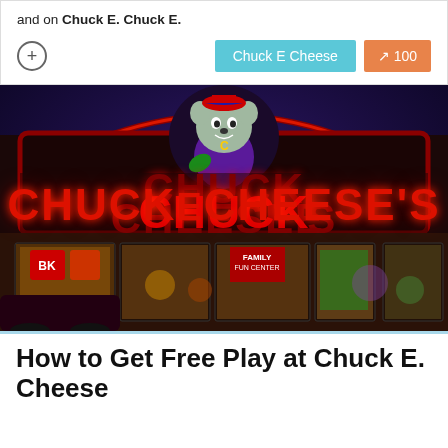and on Chuck E. Chuck E.
[Figure (photo): Night photo of a Chuck E. Cheese's restaurant exterior with illuminated red neon signage reading CHUCK E CHEESE'S and the animated mouse mascot character on the sign. The storefront windows glow with warm light showing arcade games inside.]
How to Get Free Play at Chuck E. Cheese